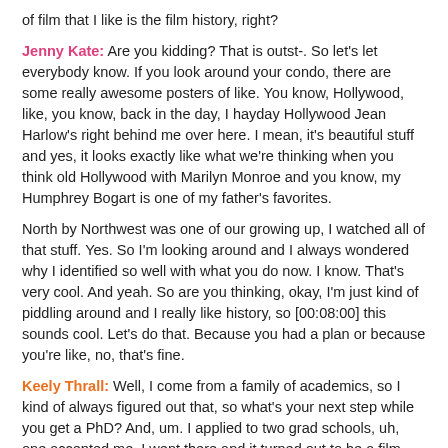of film that I like is the film history, right?
Jenny Kate: Are you kidding? That is outst-. So let's let everybody know. If you look around your condo, there are some really awesome posters of like. You know, Hollywood, like, you know, back in the day, I hayday Hollywood Jean Harlow's right behind me over here. I mean, it's beautiful stuff and yes, it looks exactly like what we're thinking when you think old Hollywood with Marilyn Monroe and you know, my Humphrey Bogart is one of my father's favorites.
North by Northwest was one of our growing up, I watched all of that stuff. Yes. So I'm looking around and I always wondered why I identified so well with what you do now. I know. That's very cool. And yeah. So are you thinking, okay, I'm just kind of piddling around and I really like history, so [00:08:00] this sounds cool. Let's do that. Because you had a plan or because you're like, no, that's fine.
Keely Thrall: Well, I come from a family of academics, so I kind of always figured out that, so what's your next step while you get a PhD? And, um. I applied to two grad schools, uh, one accepted me. I went there and it turned out to be a film production instead of a film history, which I know, but I thought